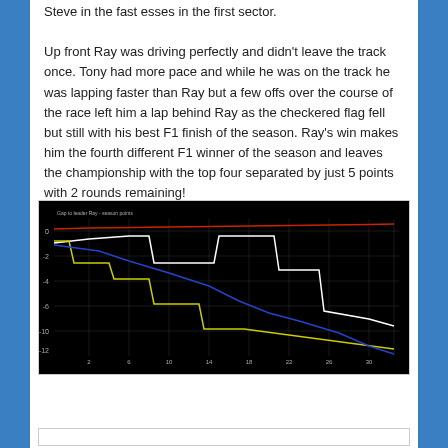Steve in the fast esses in the first sector.

Up front Ray was driving perfectly and didn't leave the track once. Tony had more pace and while he was on the track he was lapping faster than Ray but a few offs over the course of the race left him a lap behind Ray as the checkered flag fell but still with his best F1 finish of the season. Ray's win makes him the fourth different F1 winner of the season and leaves the championship with the top four separated by just 5 points with 2 rounds remaining!
[Figure (continuous-plot): A race timing/gap chart on a black background showing multiple colored lines (red, white, yellow, blue) representing driver gaps or positions over lap numbers. The lines show various position changes and drops over approximately 30 laps. Y-axis appears to show gap in seconds/laps, x-axis shows lap number.]